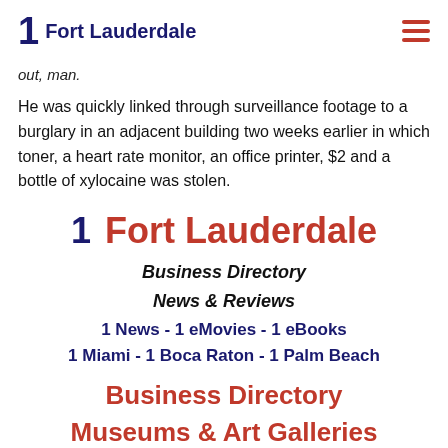1 Fort Lauderdale
out, man.
He was quickly linked through surveillance footage to a burglary in an adjacent building two weeks earlier in which toner, a heart rate monitor, an office printer, $2 and a bottle of xylocaine was stolen.
1 Fort Lauderdale
Business Directory
News & Reviews
1 News - 1 eMovies - 1 eBooks
1 Miami - 1 Boca Raton - 1 Palm Beach
Business Directory
Museums & Art Galleries